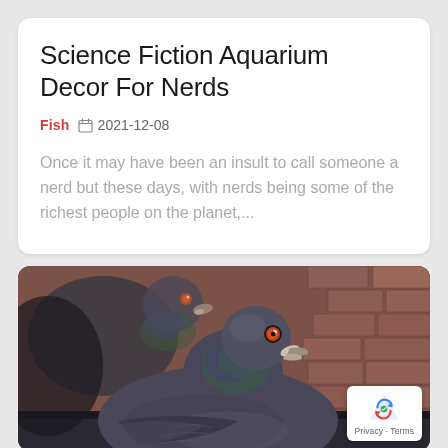Science Fiction Aquarium Decor For Nerds
Fish  2021-12-08
Once it may have been an insult to call someone a nerd but these days, with nerds being some of the richest people on the planet,...
[Figure (photo): Two pigeons (rock doves) perched on a brick ledge. The foreground pigeon faces the camera with a distinctive orange eye, grey-blue plumage with iridescent green neck feathers. A second pigeon is visible in the background.]
Privacy · Terms